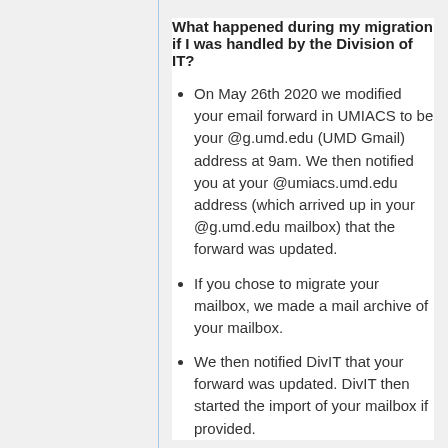What happened during my migration if I was handled by the Division of IT?
On May 26th 2020 we modified your email forward in UMIACS to be your @g.umd.edu (UMD Gmail) address at 9am. We then notified you at your @umiacs.umd.edu address (which arrived up in your @g.umd.edu mailbox) that the forward was updated.
If you chose to migrate your mailbox, we made a mail archive of your mailbox.
We then notified DivIT that your forward was updated. DivIT then started the import of your mailbox if provided.